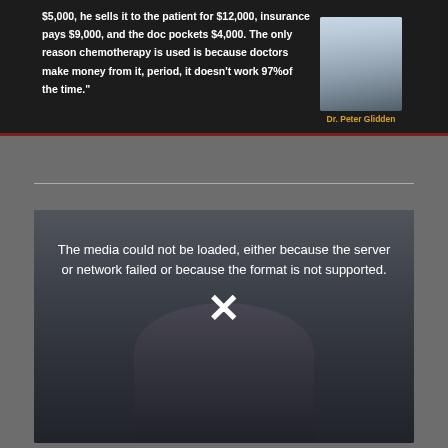[Figure (photo): Dark background quote graphic featuring bold white text from Dr. Peter Glidden, with a photo of the doctor on the right side. Text reads: '$5,000, he sells it to the patient for $12,000, insurance pays $9,000, and the doc pockets $4,000. The only reason chemotherapy is used is because doctors make money from it, period, it doesn't work 97% of the time.' Dr. Peter Glidden]
[Figure (screenshot): Video player showing a media load error. Dark overlay on top of a blurred background image of a woman. White text reads: 'The media could not be loaded, either because the server or network failed or because the format is not supported.' with an X symbol below.]